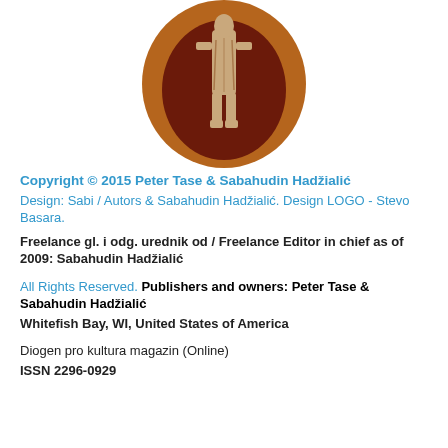[Figure (logo): Oval logo with brown background showing a standing figure (statue), brown and sepia tones]
Copyright © 2015 Peter Tase & Sabahudin Hadžialić
Design: Sabi / Autors & Sabahudin Hadžialić. Design LOGO - Stevo Basara.
Freelance gl. i odg. urednik od / Freelance Editor in chief as of 2009: Sabahudin Hadžialić
All Rights Reserved. Publishers and owners: Peter Tase & Sabahudin Hadžialić
Whitefish Bay, WI, United States of America
Diogen pro kultura magazin (Online)
ISSN 2296-0929